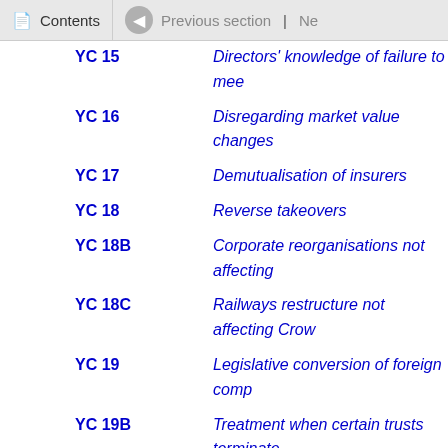Contents | Previous section | Ne
YC 15  Directors' knowledge of failure to mee
YC 16  Disregarding market value changes
YC 17  Demutualisation of insurers
YC 18  Reverse takeovers
YC 18B  Corporate reorganisations not affecting
YC 18C  Railways restructure not affecting Crow
YC 19  Legislative conversion of foreign comp
YC 19B  Treatment when certain trusts terminate
YC 20  Credit account continuity provisions: e
Subpart YD—Resi
YD 1  Residence of natural persons
YD 2  Residence of companies
YD 3  Country of residence of foreign compa
YD 3BA  Country of residence of joint trustees
YD 3B  Crown